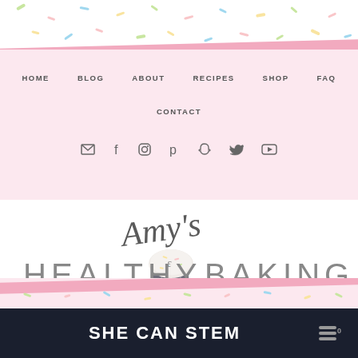[Figure (screenshot): Top sprinkles decorative area with colorful small dashes on white background]
HOME  BLOG  ABOUT  RECIPES  SHOP  FAQ  CONTACT
[Figure (logo): Amy's Healthy Baking logo with cursive script and cupcake illustration]
[Figure (screenshot): Bottom decorative pink band with sprinkles]
SHE CAN STEM